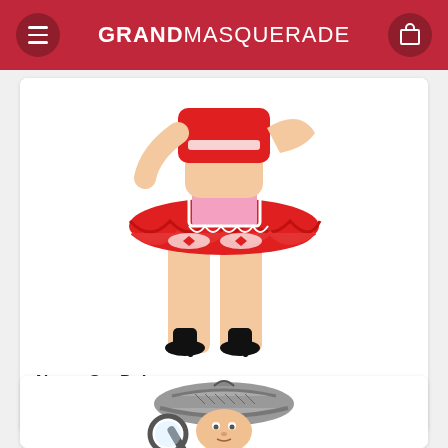GRANDMASQUERADE
[Figure (photo): Product photo of a Nurse Set Deluxe costume - woman wearing a short red tutu skirt with pink apron and white lace details, wearing black high heels and white stockings with red bow garter]
Nurse Set Deluxe
£5.76
[Figure (photo): Product photo of a detective costume - man wearing a grey houndstooth deerstalker hat and holding a magnifying glass]